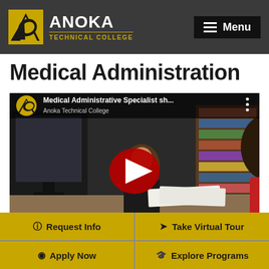Anoka Technical College — Menu
Medical Administration
[Figure (screenshot): YouTube video thumbnail showing two women working at desks in a classroom/office setting with bookshelves, computers, and papers. Video title shown: 'Medical Administrative Specialist sh...' with Anoka Technical College logo and a YouTube play button overlay.]
Request Info
Take Virtual Tour
Apply Now
Explore Programs